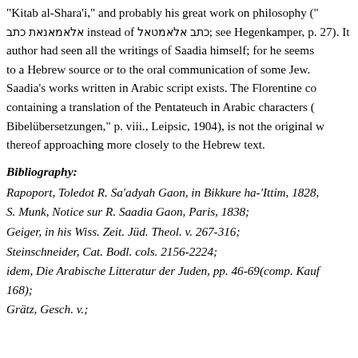"Kitab al-Shara'i," and probably his great work on philosophy (" אלאמאנאת כתב instead of כתב אלאמטאל; see Hegenkamper, p. 27). It author had seen all the writings of Saadia himself; for he seems to a Hebrew source or to the oral communication of some Jew. Saadia's works written in Arabic script exists. The Florentine co containing a translation of the Pentateuch in Arabic characters ( Bibelübersetzungen," p. viii., Leipsic, 1904), is not the original w thereof approaching more closely to the Hebrew text.
Bibliography:
Rapoport, Toledot R. Sa'adyah Gaon, in Bikkure ha-'Ittim, 1828,
S. Munk, Notice sur R. Saadia Gaon, Paris, 1838;
Geiger, in his Wiss. Zeit. Jüd. Theol. v. 267-316;
Steinschneider, Cat. Bodl. cols. 2156-2224;
idem, Die Arabische Litteratur der Juden, pp. 46-69(comp. Kauf 168);
Grätz, Gesch. v.;